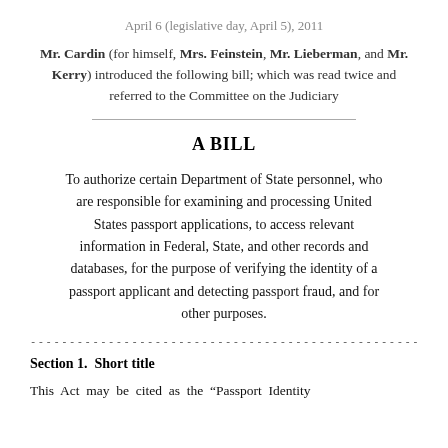April 6 (legislative day, April 5), 2011
Mr. Cardin (for himself, Mrs. Feinstein, Mr. Lieberman, and Mr. Kerry) introduced the following bill; which was read twice and referred to the Committee on the Judiciary
A BILL
To authorize certain Department of State personnel, who are responsible for examining and processing United States passport applications, to access relevant information in Federal, State, and other records and databases, for the purpose of verifying the identity of a passport applicant and detecting passport fraud, and for other purposes.
Section 1. Short title
This Act may be cited as the “Passport Identity